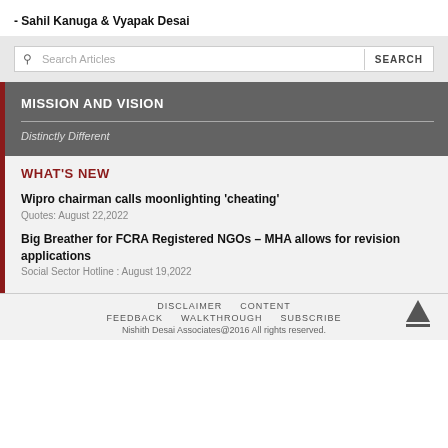- Sahil Kanuga & Vyapak Desai
Search Articles  SEARCH
MISSION AND VISION
Distinctly Different
WHAT'S NEW
Wipro chairman calls moonlighting 'cheating'
Quotes: August 22,2022
Big Breather for FCRA Registered NGOs – MHA allows for revision applications
Social Sector Hotline : August 19,2022
DISCLAIMER  CONTENT  FEEDBACK  WALKTHROUGH  SUBSCRIBE  Nishith Desai Associates@2016 All rights reserved.